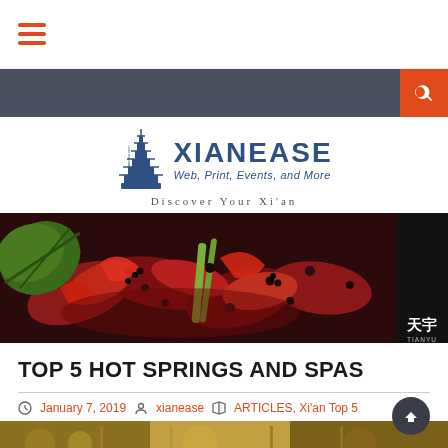[Figure (logo): Hamburger menu icon (3 orange horizontal lines)]
[Figure (logo): Navigation bar with dark background and orange search button with magnifying glass icon]
[Figure (logo): Xianease logo with pagoda illustration, bold blue XIANEASE text, tagline 'Web, Print, Events, and More', and 'Discover Your Xi'an' subtitle]
[Figure (photo): Hero image of spicy Chinese crayfish/crawfish dish with red peppers, Sichuan peppercorns, and green vegetables. Right edge has dark overlay with Chinese characters 天宇 and TIANYU text]
TOP 5 HOT SPRINGS AND SPAS
January 7, 2019   xianease   ARTICLES, Xi'an Top 5
[Figure (photo): Bottom preview strip showing gold/amber toned interior decoration]